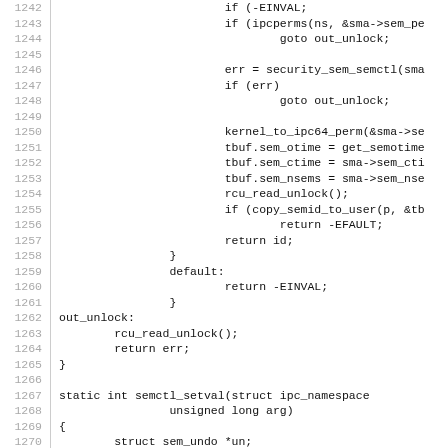Source code listing: Linux kernel semaphore control function, lines 1242-1272
1242: (truncated)
1243:             if (ipcperms(ns, &sma->sem_pe
1244:                     goto out_unlock;
1245: (blank)
1246:             err = security_sem_semctl(sma
1247:             if (err)
1248:                     goto out_unlock;
1249: (blank)
1250:             kernel_to_ipc64_perm(&sma->se
1251:             tbuf.sem_otime = get_semotime
1252:             tbuf.sem_ctime = sma->sem_cti
1253:             tbuf.sem_nsems = sma->sem_nse
1254:             rcu_read_unlock();
1255:             if (copy_semid_to_user(p, &tb
1256:                     return -EFAULT;
1257:             return id;
1258:         }
1259:         default:
1260:                 return -EINVAL;
1261:         }
1262: out_unlock:
1263:         rcu_read_unlock();
1264:         return err;
1265: }
1266: (blank)
1267: static int semctl_setval(struct ipc_namespace
1268:                 unsigned long arg)
1269: {
1270:         struct sem_undo *un;
1271:         struct sem_array *sma;
1272:         struct sem *curr;